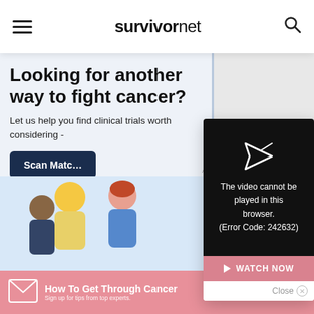survivornet
Looking for another way to fight cancer?
Let us help you find clinical trials worth considering -
Scan Matc[h]
[Figure (screenshot): Video player showing error: The video cannot be played in this browser. (Error Code: 242632)]
The video cannot be played in this browser. (Error Code: 242632)
WATCH NOW
Close
[Figure (infographic): Bottom advertisement banner: How To Get Through Cancer - Sign up for tips from top experts. Register Now button.]
How To Get Through Cancer
Sign up for tips from top experts.
REGISTER NOW